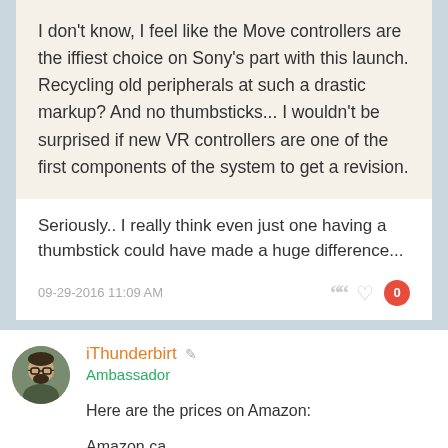I don't know, I feel like the Move controllers are the iffiest choice on Sony's part with this launch. Recycling old peripherals at such a drastic markup? And no thumbsticks... I wouldn't be surprised if new VR controllers are one of the first components of the system to get a revision.
Seriously.. I really think even just one having a thumbstick could have made a huge difference...
09-29-2016 11:09 AM
iThunderbirt
Ambassador
Here are the prices on Amazon:
Amazon.ca
Amazon.com
Last edited by iThunderbirt; 10-07-2016 at 04:46 PM.